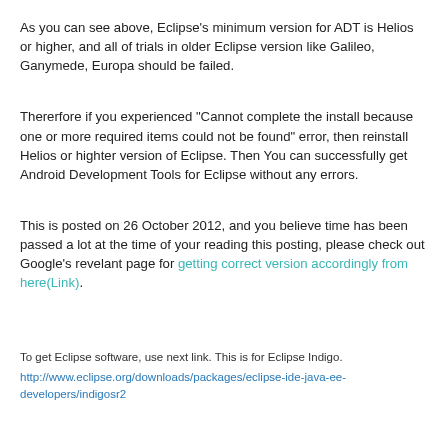As you can see above, Eclipse's minimum version for ADT is Helios or higher, and all of trials in older Eclipse version like Galileo, Ganymede, Europa should be failed.
Thererfore if you experienced "Cannot complete the install because one or more required items could not be found" error, then reinstall Helios or highter version of Eclipse. Then You can successfully get Android Development Tools for Eclipse without any errors.
This is posted on 26 October 2012, and you believe time has been passed a lot at the time of your reading this posting, please check out Google's revelant page for getting correct version accordingly from here(Link).
To get Eclipse software, use next link. This is for Eclipse Indigo.
http://www.eclipse.org/downloads/packages/eclipse-ide-java-ee-developers/indigosr2